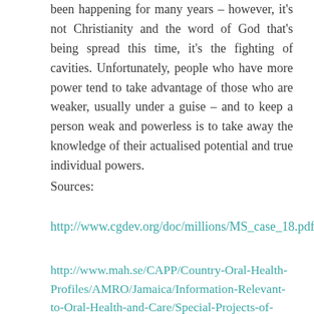been happening for many years – however, it's not Christianity and the word of God that's being spread this time, it's the fighting of cavities. Unfortunately, people who have more power tend to take advantage of those who are weaker, usually under a guise – and to keep a person weak and powerless is to take away the knowledge of their actualised potential and true individual powers.
Sources:
http://www.cgdev.org/doc/millions/MS_case_18.pdf
http://www.mah.se/CAPP/Country-Oral-Health-Profiles/AMRO/Jamaica/Information-Relevant-to-Oral-Health-and-Care/Special-Projects-of-Interest/Salt-Fluoridation-Programme-to-Prevent-